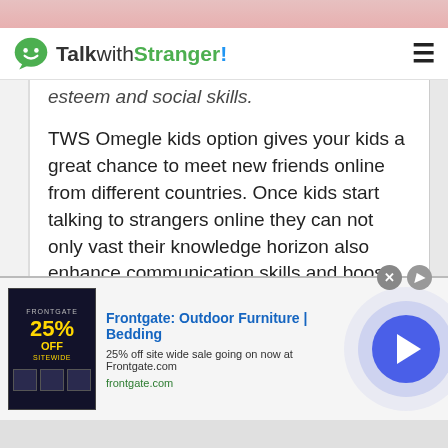TalkwithStranger!
esteem and social skills.
TWS Omegle kids option gives your kids a great chance to meet new friends online from different countries. Once kids start talking to strangers online they can not only vast their knowledge horizon also enhance communication skills and boost self-confidence.
In short, TWS Omegle kids chat is a safe, secure and convenient platform for all kids. Parents can surely trust TWS and make their kid's life secure and
[Figure (screenshot): Frontgate advertisement banner: 25% OFF SITEWIDE promotional ad with play button]